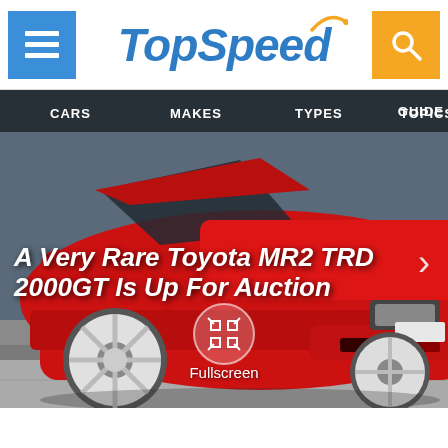TopSpeed
[Figure (screenshot): Website navigation bar with menu icon on the left (blue), TopSpeed logo in center (blue italic), and search icon on the right (orange)]
[Figure (photo): A red Toyota MR2 TRD 2000GT sports car photographed from the front-left angle, parked on a street. The car has white alloy wheels and a very low stance.]
A Very Rare Toyota MR2 TRD 2000GT Is Up For Auction
Fullscreen